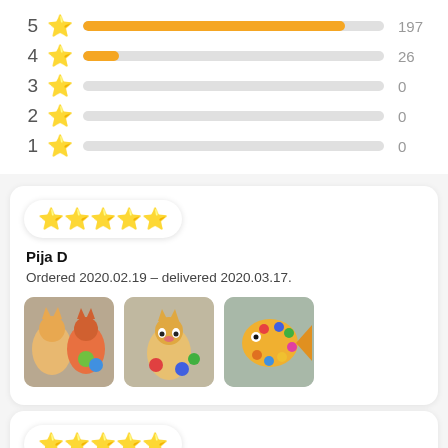[Figure (bar-chart): Star rating distribution]
[Figure (infographic): Review card for Pija D, 5 stars, ordered 2020.02.19 delivered 2020.03.17, with 3 product photos]
[Figure (infographic): Review card for Natalia S, 5 stars, text: good]